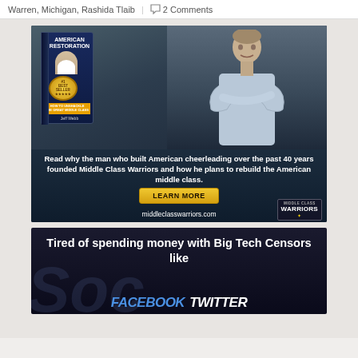Warren, Michigan, Rashida Tlaib | 2 Comments
[Figure (photo): Advertisement for 'American Restoration' book by Jeff Webb, #1 Best Seller. Shows a man with arms crossed and a book cover. Text reads: 'Read why the man who built American cheerleading over the past 40 years founded Middle Class Warriors and how he plans to rebuild the American middle class.' LEARN MORE button. middleclasswarriors.com]
[Figure (photo): Advertisement with dark background. Text reads: 'Tired of spending money with Big Tech Censors like FACEBOOK TWITTER']